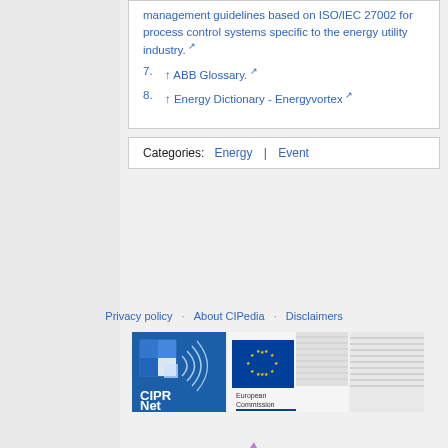management guidelines based on ISO/IEC 27002 for process control systems specific to the energy utility industry.
7. ↑ ABB Glossary.
8. ↑ Energy Dictionary - Energyvortex
Categories: Energy | Event
Privacy policy   About CIPedia   Disclaimers
[Figure (logo): CIPRNet logo - blue squares with wireless signal motif]
[Figure (logo): European Commission logo with EU flag stars]
[Figure (logo): Third organization logo - grey striped pattern]
[Figure (logo): RESIN logo - colorful geometric crystal shapes with RESIN text]